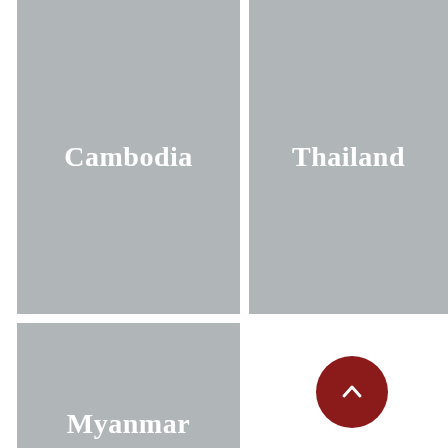[Figure (illustration): Gray placeholder tile with white text 'Cambodia' centered, representing a country card]
[Figure (illustration): Gray placeholder tile with white text 'Thailand' centered, representing a country card]
[Figure (illustration): Gray placeholder tile with white text 'Myanmar' partially visible at bottom, representing a country card]
[Figure (other): Dark red circular scroll-to-top button with white chevron/arrow pointing up]